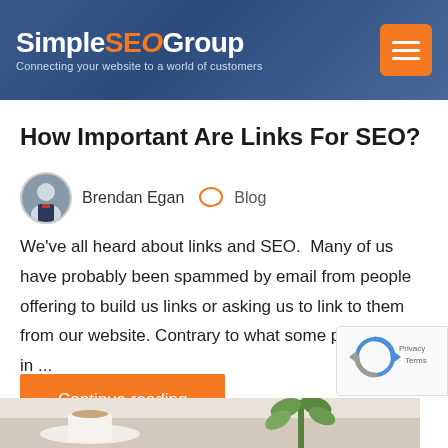SimpleSEOGroup — Connecting your website to a world of customers
How Important Are Links For SEO?
Brendan Egan   Blog
We've all heard about links and SEO.  Many of us have probably been spammed by email from people offering to build us links or asking us to link to them from our website.  Contrary to what some people say, in ...
Continue reading
[Figure (photo): Bottom of page decorative image showing a coffee cup and green plant on a table]